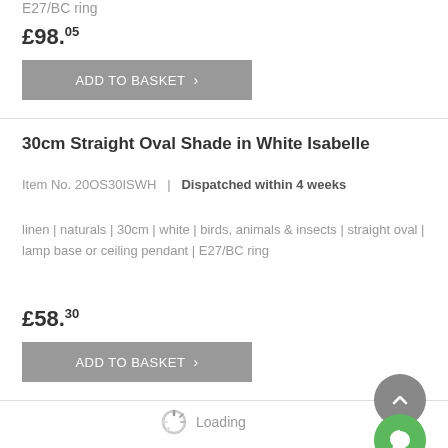E27/BC ring
£98.05
ADD TO BASKET
30cm Straight Oval Shade in White Isabelle
Item No. 20OS30ISWH  |  Dispatched within 4 weeks
linen | naturals | 30cm | white | birds, animals & insects | straight oval | lamp base or ceiling pendant | E27/BC ring
£58.30
ADD TO BASKET
Loading